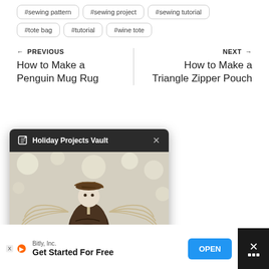#sewing pattern
#sewing project
#sewing tutorial
#tote bag
#tutorial
#wine tote
← PREVIOUS
How to Make a Penguin Mug Rug
NEXT →
How to Make a Triangle Zipper Pouch
[Figure (screenshot): Holiday Projects Vault popup overlay showing a pine cone angel ornament craft with text 'PINE CONE ORNAMENTS' watermark]
Bitly, Inc.
Get Started For Free
OPEN